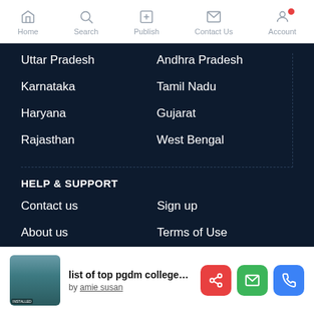Home | Search | Publish | Contact Us | Account
Uttar Pradesh
Andhra Pradesh
Karnataka
Tamil Nadu
Haryana
Gujarat
Rajasthan
West Bengal
HELP & SUPPORT
Contact us
Sign up
About us
Terms of Use
Privacy Policy
Disclaimer
Special Offer
list of top pgdm college… by amie susan